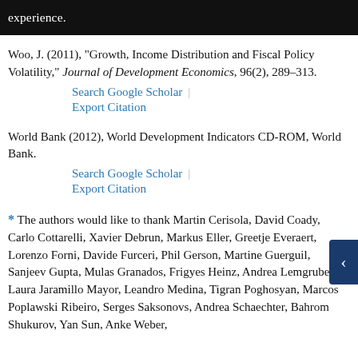experience.
Woo, J. (2011), "Growth, Income Distribution and Fiscal Policy Volatility," Journal of Development Economics, 96(2), 289–313.
Search Google Scholar | Export Citation
World Bank (2012), World Development Indicators CD-ROM, World Bank.
Search Google Scholar | Export Citation
* The authors would like to thank Martin Cerisola, David Coady, Carlo Cottarelli, Xavier Debrun, Markus Eller, Greetje Everaert, Lorenzo Forni, Davide Furceri, Phil Gerson, Martine Guerguil, Sanjeev Gupta, Mulas Granados, Frigyes Heinz, Andrea Lemgruber, Laura Jaramillo Mayor, Leandro Medina, Tigran Poghosyan, Marcos Poplawski Ribeiro, Serges Saksonovs, Andrea Schaechter, Bahrom Shukurov, Yan Sun, Anke Weber,